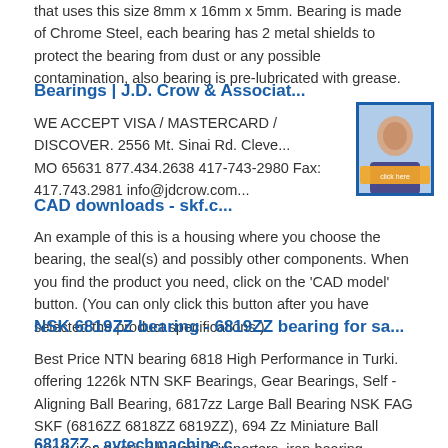that uses this size 8mm x 16mm x 5mm. Bearing is made of Chrome Steel, each bearing has 2 metal shields to protect the bearing from dust or any possible contamination, also bearing is pre-lubricated with grease.
Bearings | J.D. Crow & Associat...
WE ACCEPT VISA / MASTERCARD / DISCOVER. 2556 Mt. Sinai Rd. Cleve... MO 65631 877.434.2638 417-743-2980 Fax: 417.743.2981 info@jdcrow.com...
[Figure (photo): Customer service representative photo with chat overlay for JD Crow website]
CAD downloads - skf.c...
An example of this is a housing where you choose the bearing, the seal(s) and possibly other components. When you find the product you need, click on the 'CAD model' button. (You can only click this button after you have selected the product specifications.)
NSK 6819ZZ bearing - 6819ZZ bearing for sa...
Best Price NTN bearing 6818 High Performance in Turki. offering 1226k NTN SKF Bearings, Gear Bearings, Self -Aligning Ball Bearing, 6817zz Large Ball Bearing NSK FAG SKF (6816ZZ 6818ZZ 6819ZZ), 694 Zz Miniature Ball Beari. iran bearing buyers & importers, iran bearing REQUEST FOR .
6818ZZ - avtechmachine.c...
6818ZZ NSK Bearing . NSK Deep Groove Ball Bearing 681... 949-439-9537. View Cart ...